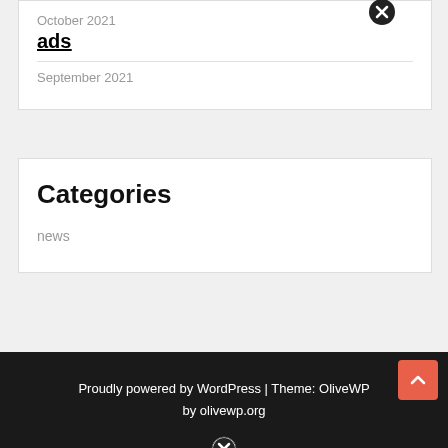October 2021
ads
September 2021
Categories
news
Proudly powered by WordPress | Theme: OliveWP by olivewp.org